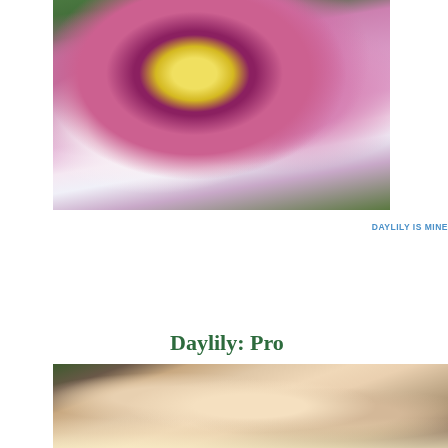[Figure (photo): Close-up photograph of a pink and white daylily flower with purple eye zone and yellow-green center, surrounded by green foliage]
DAYLILY IS MINE
Daylily: Pro
[Figure (photo): Close-up photograph of a peach/cream and lavender ruffled daylily flower petal]